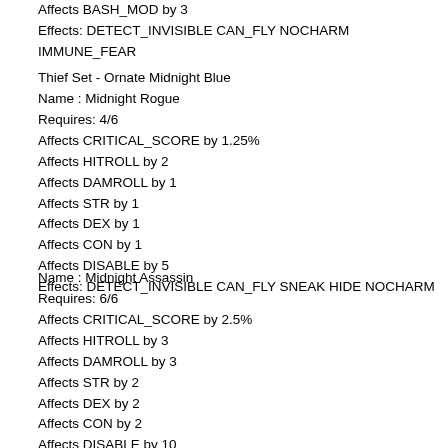Affects BASH_MOD by 3
Effects: DETECT_INVISIBLE CAN_FLY NOCHARM IMMUNE_FEAR
Thief Set  - Ornate Midnight Blue
Name : Midnight Rogue
Requires: 4/6
Affects CRITICAL_SCORE by 1.25%
Affects HITROLL by 2
Affects DAMROLL by 1
Affects STR by 1
Affects DEX by 1
Affects CON by 1
Affects DISABLE by 5
Effects: DETECT_INVISIBLE CAN_FLY SNEAK HIDE NOCHARM
Name : Midnight Assassin
Requires: 6/6
Affects CRITICAL_SCORE by 2.5%
Affects HITROLL by 3
Affects DAMROLL by 3
Affects STR by 2
Affects DEX by 2
Affects CON by 2
Affects DISABLE by 10
Affects RETALIATE by 5
Affects BACKSTAB_MOD by 10
Effects: DETECT_INVISIBLE CAN_FLY SNEAK HIDE NOCHARM IMMUNE_FEAR